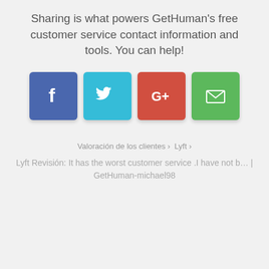Sharing is what powers GetHuman's free customer service contact information and tools. You can help!
[Figure (infographic): Four social sharing buttons: Facebook (blue), Twitter (cyan), Google+ (red), Email (green)]
Valoración de los clientes › Lyft ›
Lyft Revisión: It has the worst customer service .I have not b… | GetHuman-michael98